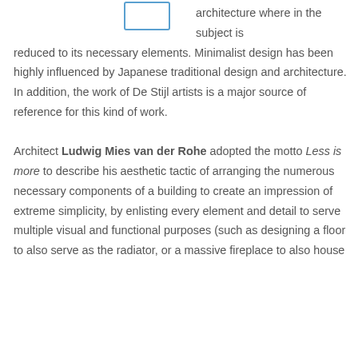[Figure (other): Small square icon with blue border, partially visible at top]
architecture where in the subject is reduced to its necessary elements. Minimalist design has been highly influenced by Japanese traditional design and architecture. In addition, the work of De Stijl artists is a major source of reference for this kind of work.

Architect Ludwig Mies van der Rohe adopted the motto Less is more to describe his aesthetic tactic of arranging the numerous necessary components of a building to create an impression of extreme simplicity, by enlisting every element and detail to serve multiple visual and functional purposes (such as designing a floor to also serve as the radiator, or a massive fireplace to also house